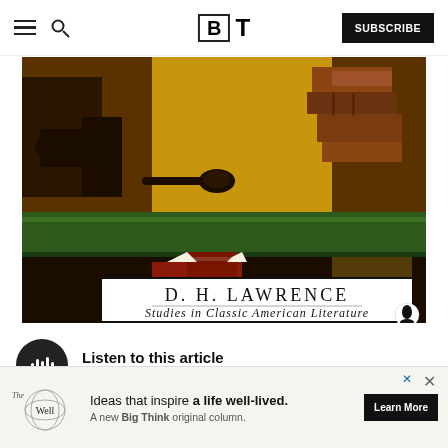BT — Subscribe
[Figure (photo): Book cover of D. H. Lawrence 'Studies in Classic American Literature' with antique painting background showing books, pipe, and writing implements on a green desk surface]
Listen to this article
[Figure (other): Advertisement: The Well — Ideas that inspire a life well-lived. A new Big Think original column. Learn More.]